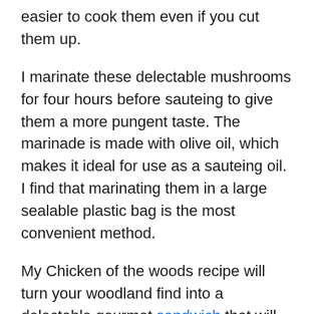easier to cook them even if you cut them up.
I marinate these delectable mushrooms for four hours before sauteing to give them a more pungent taste. The marinade is made with olive oil, which makes it ideal for use as a sauteing oil. I find that marinating them in a large sealable plastic bag is the most convenient method.
My Chicken of the woods recipe will turn your woodland find into a delectable gourmet sandwich that will make you want to go hunting for more! This isn't the only way to prepare these gourmet mushrooms, so I'll give you some more excellent suggestions. People frequently confuse the hen of the woods with Chicken of the woods mushrooms due to their similar names. Even though they are...